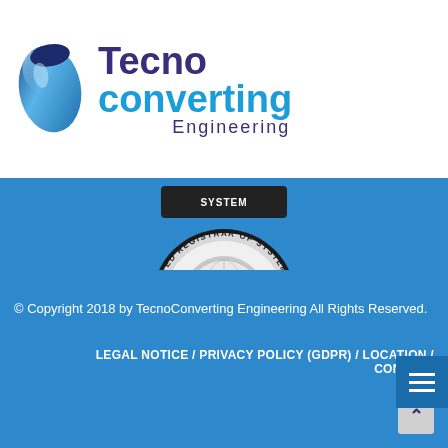[Figure (logo): TecnoConverting Engineering logo with a blue teardrop/capsule shaped icon on the left, and the company name to the right: 'Tecno' in dark purple, 'converting' in blue, 'Engineering' in dark purple below.]
[Figure (logo): URS (United Registrar of Systems) OHSAS 18001 certification badge — circular metallic badge with text 'UNITED REGISTRAR OF SYSTEMS' around the ring and 'OHSAS 18001' at the bottom, with URS logo in center.]
© Copyright 2018 by TecnoConverting Engineering All Rights Reserved.
LEGAL NOTICE / PRIVACY POLICY (GDPR) / LOCATION / CONTACT